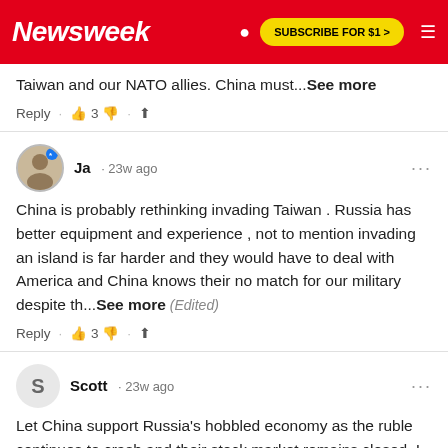Newsweek | SUBSCRIBE FOR $1 >
Taiwan and our NATO allies. China must...See more
Reply · 👍 3 👎 · share
Ja · 23w ago
China is probably rethinking invading Taiwan . Russia has better equipment and experience , not to mention invading an island is far harder and they would have to deal with America and China knows their no match for our military despite th...See more (Edited)
Reply · 👍 3 👎 · share
Scott · 23w ago
Let China support Russia's hobbled economy as the ruble continues to crash and their stock market remains closed. I am not sure if they are ready for